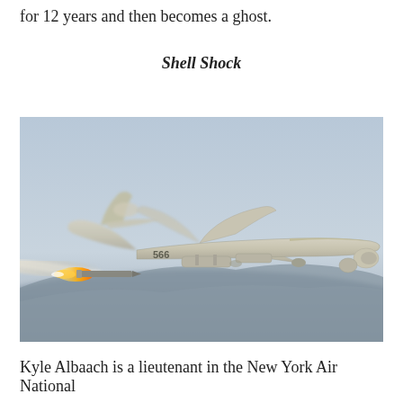for 12 years and then becomes a ghost.
Shell Shock
[Figure (photo): Military drone (MQ-9 Reaper style) firing a missile. The drone is gray, in flight against a hazy blue-gray sky with mountains below. It bears the number '566' on the fuselage. A missile with a bright flame trail launches from under the wing.]
Kyle Albaach is a lieutenant in the New York Air National